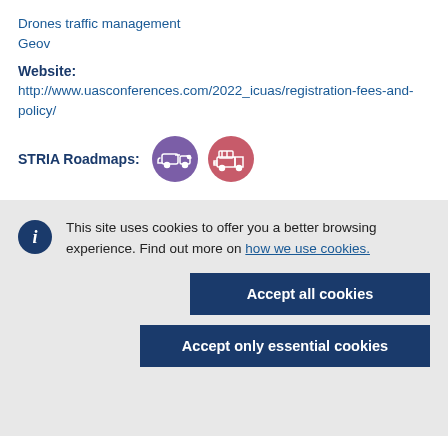Drones traffic management
Geov
Website:
http://www.uasconferences.com/2022_icuas/registration-fees-and-policy/
[Figure (illustration): STRIA Roadmaps label with two circular icons: a purple icon showing connected vehicles/transport and a pink/red icon showing logistics/freight]
This site uses cookies to offer you a better browsing experience. Find out more on how we use cookies.
Accept all cookies
Accept only essential cookies